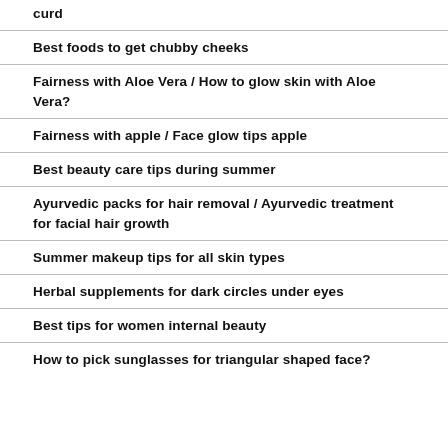curd
Best foods to get chubby cheeks
Fairness with Aloe Vera / How to glow skin with Aloe Vera?
Fairness with apple / Face glow tips apple
Best beauty care tips during summer
Ayurvedic packs for hair removal / Ayurvedic treatment for facial hair growth
Summer makeup tips for all skin types
Herbal supplements for dark circles under eyes
Best tips for women internal beauty
How to pick sunglasses for triangular shaped face?